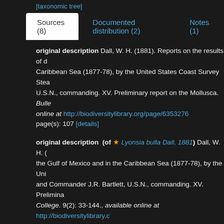[taxonomic tree]
Sources (8) | Documented distribution (2) | Notes (1)
original description Dall, W. H. (1881). Reports on the results of dredging in the Caribbean Sea (1877-78), by the United States Coast Survey Steamer... U.S.N., commanding. XV. Preliminary report on the Mollusca. Bulle... available online at http://biodiversitylibrary.org/page/6353276 page(s): 107 [details]
original description (of ★ Lyonsia bulla Dall, 1881) Dall, W. H. ... the Gulf of Mexico and in the Caribbean Sea (1877-78), by the Uni... and Commander J.R. Bartlett, U.S.N., commanding. XV. Prelimina... College. 9(2): 33-144., available online at http://biodiversitylibrary.c... page(s): 107 [details]
context source (Deepsea) Intergovernmental Oceanographic Co... available online at http://www.iobis.org/ [details]
basis of record Abbott, R. T. (1974). American seashells. The ma... York. 663 pp., 24 pls. [October 1974]. (look up in IMIS) [details]